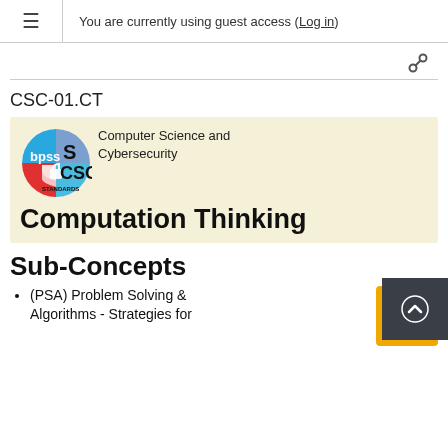You are currently using guest access (Log in)
[Figure (logo): BPSS CSC Standards circular logo with colored quadrants and text]
CSC-01.CT
Computer Science and Cybersecurity
Computation Thinking
Sub-Concepts
(PSA) Problem Solving & Algorithms - Strategies for
[Figure (screenshot): Yellow thumbnail image of a computer/coding screen]